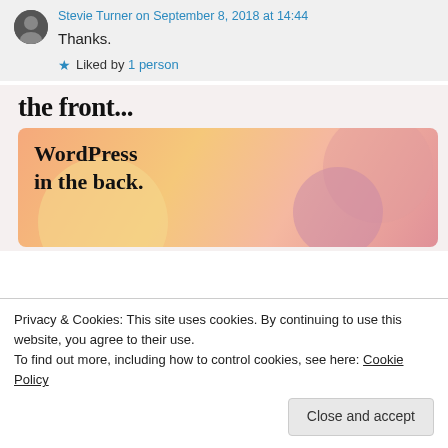Stevie Turner on September 8, 2018 at 14:44
Thanks.
★ Liked by 1 person
[Figure (illustration): WordPress promotional banner with text 'the front... WordPress in the back.' on a colorful orange/pink gradient background with blob shapes]
Privacy & Cookies: This site uses cookies. By continuing to use this website, you agree to their use.
To find out more, including how to control cookies, see here: Cookie Policy
Close and accept